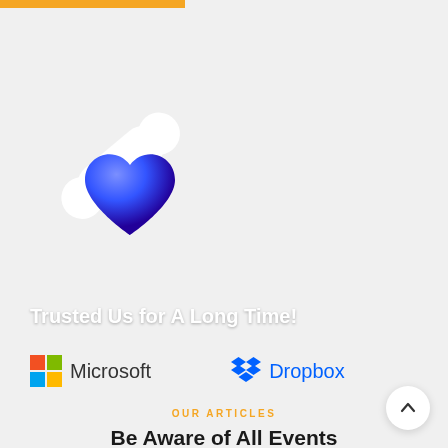[Figure (illustration): 3D illustration of a white pill/tablet and a blue glossy heart emoji side by side on a light grey background]
Trusted Us for A Long Time!
[Figure (logo): Microsoft logo with four-color grid icon and Microsoft text in grey]
[Figure (logo): Dropbox logo with blue dropbox icon and Dropbox text in blue]
OUR ARTICLES
Be Aware of All Events